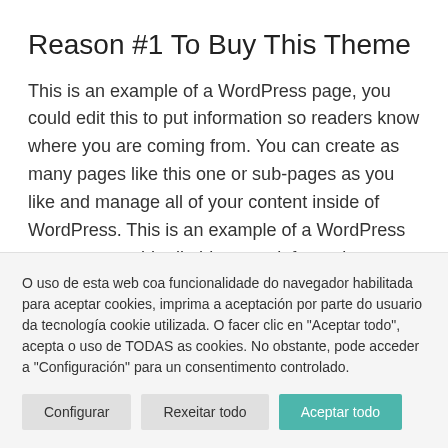Reason #1 To Buy This Theme
This is an example of a WordPress page, you could edit this to put information so readers know where you are coming from. You can create as many pages like this one or sub-pages as you like and manage all of your content inside of WordPress. This is an example of a WordPress page, you could edit this to put information so readers
O uso de esta web coa funcionalidade do navegador habilitada para aceptar cookies, imprima a aceptación por parte do usuario da tecnología cookie utilizada. O facer clic en "Aceptar todo", acepta o uso de TODAS as cookies. No obstante, pode acceder a "Configuración" para un consentimento controlado.
Configurar | Rexeitar todo | Aceptar todo